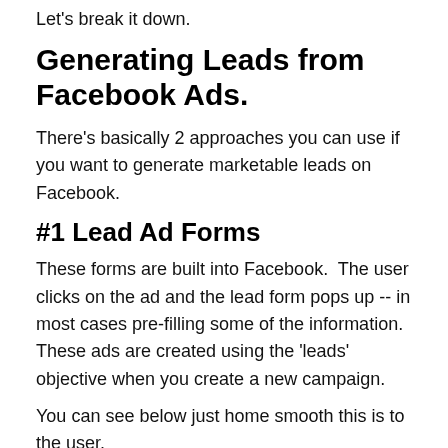Let's break it down.
Generating Leads from Facebook Ads.
There's basically 2 approaches you can use if you want to generate marketable leads on Facebook.
#1 Lead Ad Forms
These forms are built into Facebook.  The user clicks on the ad and the lead form pops up -- in most cases pre-filling some of the information.  These ads are created using the 'leads' objective when you create a new campaign.
You can see below just home smooth this is to the user.